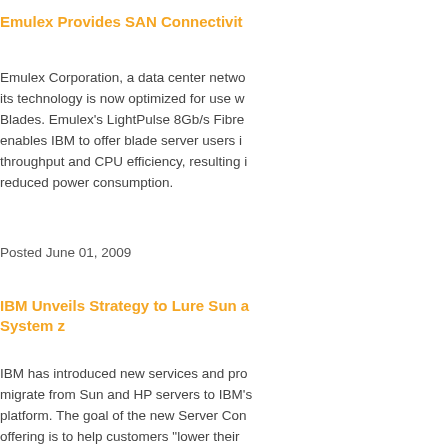Emulex Provides SAN Connectivity...
Emulex Corporation, a data center netwo... its technology is now optimized for use w... Blades. Emulex's LightPulse 8Gb/s Fibre... enables IBM to offer blade server users i... throughput and CPU efficiency, resulting i... reduced power consumption.
Posted June 01, 2009
IBM Unveils Strategy to Lure Sun a... System z
IBM has introduced new services and pro... migrate from Sun and HP servers to IBM's... platform. The goal of the new Server Con... offering is to help customers "lower their... consolidation platform," Karl Freund, vice ...